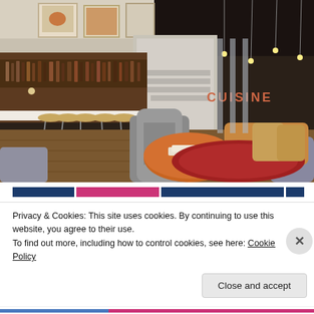[Figure (photo): Interior of a restaurant/bar lounge with wooden bar stools along a bar stocked with bottles, modern gray lounge chairs, a round orange coffee table with books/menus, a red patterned rug, and a 'CUISINE' sign visible in the background. Mid-century modern style furniture throughout.]
Privacy & Cookies: This site uses cookies. By continuing to use this website, you agree to their use.
To find out more, including how to control cookies, see here: Cookie Policy